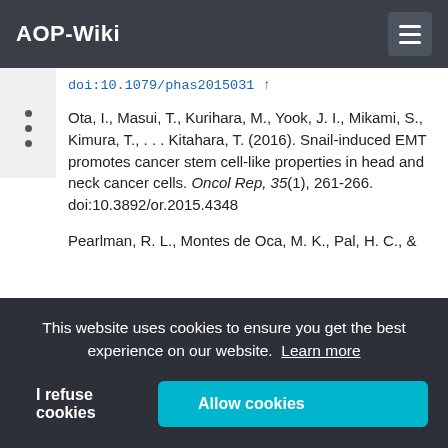AOP-Wiki
doi:10.1079/phas2015031 ↑
Ota, I., Masui, T., Kurihara, M., Yook, J. I., Mikami, S., Kimura, T., . . . Kitahara, T. (2016). Snail-induced EMT promotes cancer stem cell-like properties in head and neck cancer cells. Oncol Rep, 35(1), 261-266. doi:10.3892/or.2015.4348
Pearlman, R. L., Montes de Oca, M. K., Pal, H. C., &
This website uses cookies to ensure you get the best experience on our website. Learn more
I refuse cookies
Allow cookies